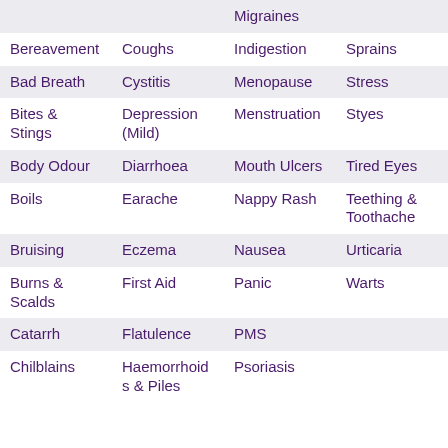|  |  | Migraines |  |
| Bereavement | Coughs | Indigestion | Sprains |
| Bad Breath | Cystitis | Menopause | Stress |
| Bites & Stings | Depression (Mild) | Menstruation | Styes |
| Body Odour | Diarrhoea | Mouth Ulcers | Tired Eyes |
| Boils | Earache | Nappy Rash | Teething & Toothache |
| Bruising | Eczema | Nausea | Urticaria |
| Burns & Scalds | First Aid | Panic | Warts |
| Catarrh | Flatulence | PMS |  |
| Chilblains | Haemorrhoids & Piles | Psoriasis |  |